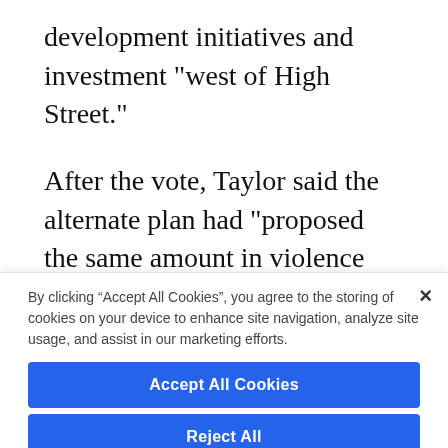development initiatives and investment "west of High Street."
After the vote, Taylor said the alternate plan had "proposed the same amount in violence prevention (and) alternative community response," but would front-load police academies instead of spreading them out over
By clicking “Accept All Cookies”, you agree to the storing of cookies on your device to enhance site navigation, analyze site usage, and assist in our marketing efforts.
Accept All Cookies
Reject All
Cookies Settings